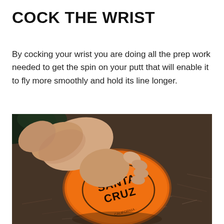COCK THE WRIST
By cocking your wrist you are doing all the prep work needed to get the spin on your putt that will enable it to fly more smoothly and hold its line longer.
[Figure (photo): A hand gripping an orange disc golf disc (Santa Cruz brand) from above, with a dark ground covered in bark/leaves in the background. The wrist is cocked back showing the putting grip technique.]